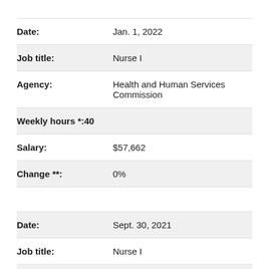| Date: | Jan. 1, 2022 |
| Job title: | Nurse I |
| Agency: | Health and Human Services Commission |
| Weekly hours *: | 40 |
| Salary: | $57,662 |
| Change **: | 0% |
| Date: | Sept. 30, 2021 |
| Job title: | Nurse I |
| Agency: | Health and Human Services |